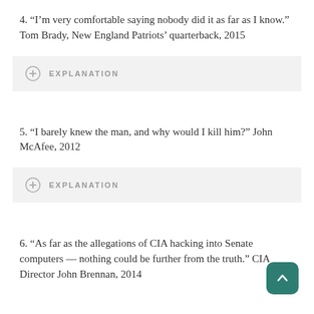4. “I’m very comfortable saying nobody did it as far as I know.” Tom Brady, New England Patriots’ quarterback, 2015
EXPLANATION
5. “I barely knew the man, and why would I kill him?” John McAfee, 2012
EXPLANATION
6. “As far as the allegations of CIA hacking into Senate computers — nothing could be further from the truth.” CIA Director John Brennan, 2014